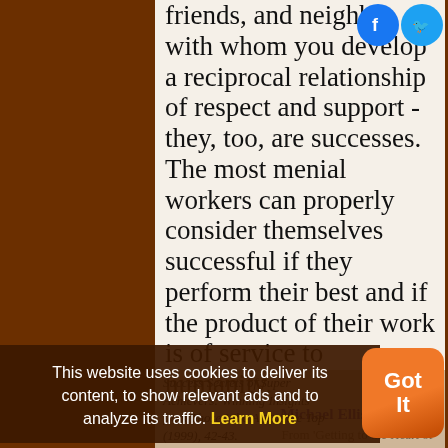success. The relatives, friends, and neighbors with whom you develop a reciprocal relationship of respect and support - they, too, are successes. The most menial workers can properly consider themselves successful if they perform their best and if the product of their work is of service to humanity.
— Michael Ellis DeBakey, From 'Getting to the Heart of Success', in Jim Stovall, Success Secrets of Super Achievers: Winning Insights from Those Who Are at the Top (1999), 42-43.
Science quotes on: Ability (156) | Achievement (163) | Best (464) | Coach (5)
This website uses cookies to deliver its content, to show relevant ads and to analyze its traffic. Learn More